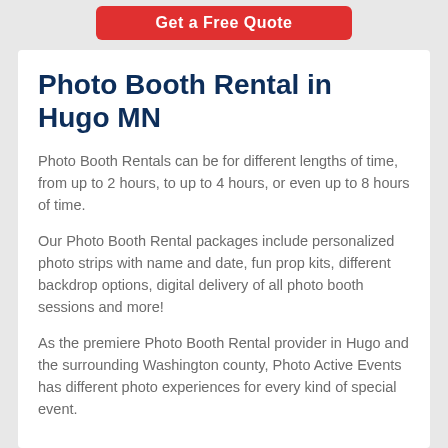[Figure (other): Red 'Get a Free Quote' button at top of page]
Photo Booth Rental in Hugo MN
Photo Booth Rentals can be for different lengths of time, from up to 2 hours, to up to 4 hours, or even up to 8 hours of time.
Our Photo Booth Rental packages include personalized photo strips with name and date, fun prop kits, different backdrop options, digital delivery of all photo booth sessions and more!
As the premiere Photo Booth Rental provider in Hugo and the surrounding Washington county, Photo Active Events has different photo experiences for every kind of special event.